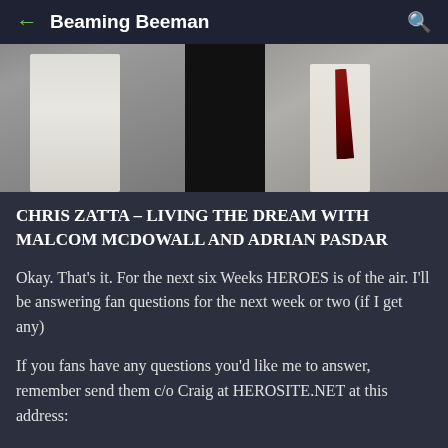Beaming Beeman
[Figure (photo): Two people photographed together, partially visible, one wearing a tie, with a dark area in the center of the image]
CHRIS ZATTA – LIVING THE DREAM WITH MALCOM MCDOWALL AND ADRIAN PASDAR
Okay. That's it. For the next six Weeks HEROES is of the air. I'll be answering fan questions for the next week or two (if I get any)
If you fans have any questions you'd like me to answer, remember send them c/o Craig at HEROSITE.NET at this address: